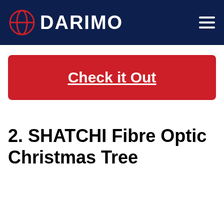DARIMO
Check it Out
2. SHATCHI Fibre Optic Christmas Tree